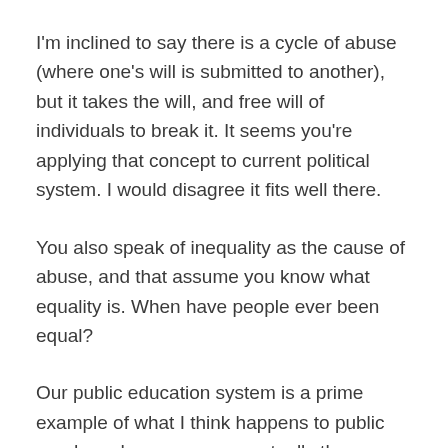I'm inclined to say there is a cycle of abuse (where one's will is submitted to another), but it takes the will, and free will of individuals to break it. It seems you're applying that concept to current political system. I would disagree it fits well there.
You also speak of inequality as the cause of abuse, and that assume you know what equality is. When have people ever been equal?
Our public education system is a prime example of what I think happens to public goods and resources...eventually the incentives shift for many to not contribute at all (private school), but the beneficiaries (prisoners) are stuck, and